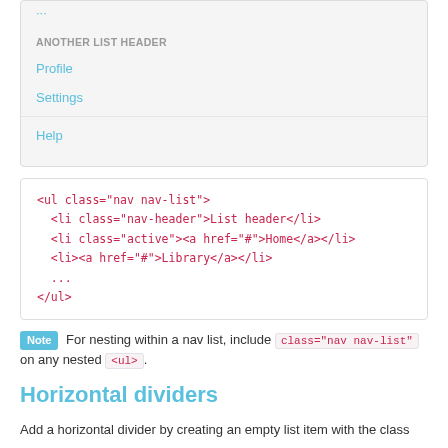[Figure (screenshot): Navigation list demo showing 'ANOTHER LIST HEADER' with links: Profile, Settings (with a divider), and Help, rendered in a light gray box with blue link text]
<ul class="nav nav-list">
  <li class="nav-header">List header</li>
  <li class="active"><a href="#">Home</a></li>
  <li><a href="#">Library</a></li>
  ...
</ul>
Note For nesting within a nav list, include class="nav nav-list" on any nested <ul>.
Horizontal dividers
Add a horizontal divider by creating an empty list item with the class